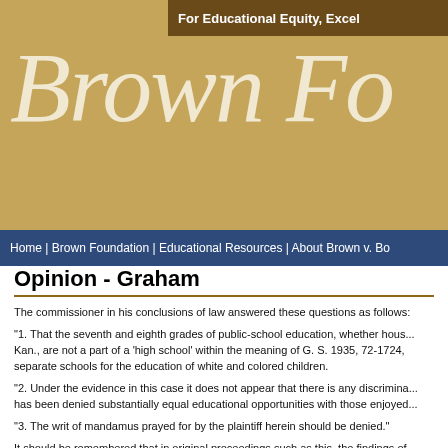For Educational Equity, Excel...
[Figure (logo): Brown Foundation logo with large italic text 'Brown Fo...' on tan/gold background]
Home | Brown Foundation | Educational Resources | About Brown v. Bo...
Opinion - Graham
The commissioner in his conclusions of law answered these questions as follows:
"1. That the seventh and eighth grades of public-school education, whether housed in Kan., are not a part of a 'high school' within the meaning of G. S. 1935, 72-1724, separate schools for the education of white and colored children.
"2. Under the evidence in this case it does not appear that there is any discrimina... has been denied substantially equal educational opportunities with those enjoyed...
"3. The writ of mandamus prayed for by the plaintiff herein should be denied."
It should be remembered that in original proceedings such as this, the findings of... the finality which is accorded to the findings of a trial court when on appeal its jud... 161 Pac. 666; State, ex rel., v. Buchanan, 142 Kan. 515, 51 P. 2d 5.) Nevertheless... facts as are necessary will be noted below.
The next claim is to be confirmed plaintiff influence these questions of d...